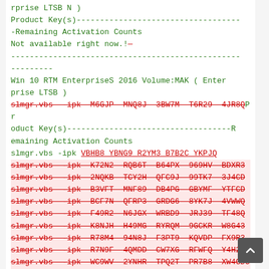rprise LTSB N )
Product Key(s)-----------------------------------Remaining Activation Counts
Not available right now.!—
------------------------------------------------------------------------
Win 10 RTM EnterpriseS 2016 Volume:MAK ( Enterprise LTSB )
slmgr.vbs -ipk M6GJP-MNQ8J-3BW7M-T6R29-4JR8Q Product Key(s)-----------------------------------Remaining Activation Counts
slmgr.vbs -ipk VBHB8-YBNG9-R2YM3-B7B2C-YKPJQ
slmgr.vbs -ipk K72N2-RQB6T-B64PX-969HV-BDXR3
slmgr.vbs -ipk 2NQKB-TCY2H-QFC9J-99TK7-3J4CD
slmgr.vbs -ipk B3VFT-MNF89-DB4PG-GBYMF-YTFCD
slmgr.vbs -ipk BCF7N-QFRP3-GRDG6-8YK7J-4VWWQ
slmgr.vbs -ipk F49R2-N6JGX-WRBD9-JRJ39-TF48Q
slmgr.vbs -ipk K8NJH-H49MG-RYRQM-9GCKR-W8G43
slmgr.vbs -ipk R78M4-94N8J-F3PT9-KQVDP-FX9R3
slmgr.vbs -ipk R7N9F-4QMDD-CW7XG-RFWFQ-Y4H2D
slmgr.vbs -ipk WC9WV-2YNHR-TPQ2T-PR7B8-XW4GD CRN6V-BX2WV-8F4YH-WQBT8-78R8Q
------------------------------------------------------------------------